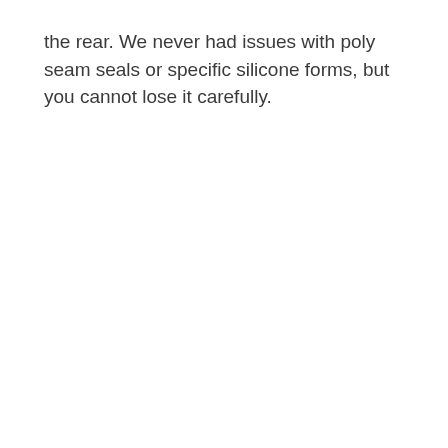the rear. We never had issues with poly seam seals or specific silicone forms, but you cannot lose it carefully.